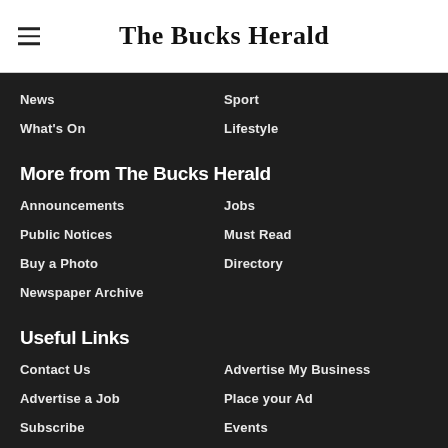The Bucks Herald
News
Sport
What's On
Lifestyle
More from The Bucks Herald
Announcements
Jobs
Public Notices
Must Read
Buy a Photo
Directory
Newspaper Archive
Useful Links
Contact Us
Advertise My Business
Advertise a Job
Place your Ad
Subscribe
Events
Newsletter
Archive
Readers Charter